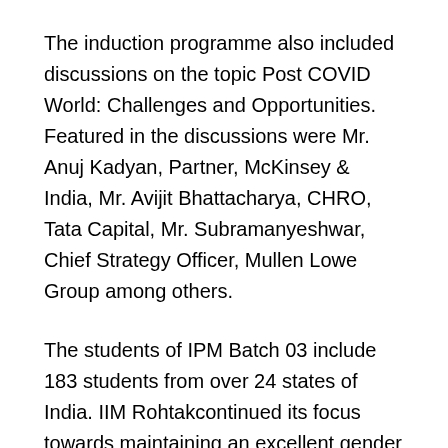The induction programme also included discussions on the topic Post COVID World: Challenges and Opportunities. Featured in the discussions were Mr. Anuj Kadyan, Partner, McKinsey & India, Mr. Avijit Bhattacharya, CHRO, Tata Capital, Mr. Subramanyeshwar, Chief Strategy Officer, Mullen Lowe Group among others.
The students of IPM Batch 03 include 183 students from over 24 states of India. IIM Rohtakcontinued its focus towards maintaining an excellent gender and academic diversity amongst the students. Around 44% students of the newly inducted batch are women. This is in continuation to the historic gender diversity achieved by the institute various programmes including flagship PGP programme where the 69% of the students are female.
IIM Rohtak is now a well-established and well-respected